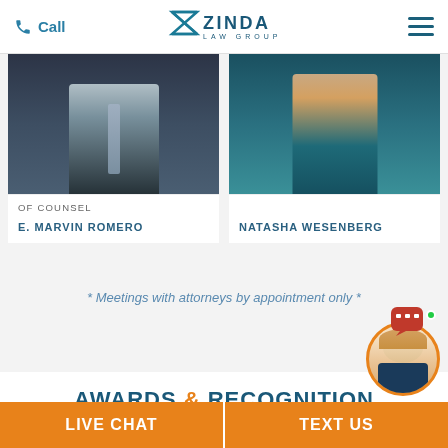Call | Zinda Law Group | Menu
[Figure (photo): Photo of E. Marvin Romero, attorney in dark suit with blue tie]
OF COUNSEL
E. MARVIN ROMERO
[Figure (photo): Photo of Natasha Wesenberg, attorney in teal jacket]
NATASHA WESENBERG
* Meetings with attorneys by appointment only *
AWARDS & RECOGNITION
[Figure (photo): Chat widget with female representative and online indicator]
LIVE CHAT | TEXT US